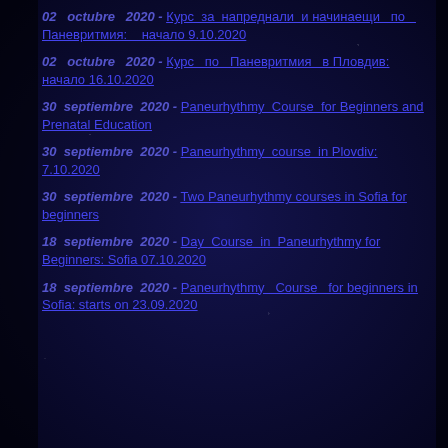02 octubre 2020 - Курс за напреднали и начинаещи по Паневритмия: начало 9.10.2020
02 octubre 2020 - Курс по Паневритмия в Пловдив: начало 16.10.2020
30 septiembre 2020 - Paneurhythmy Course for Beginners and Prenatal Education
30 septiembre 2020 - Paneurhythmy course in Plovdiv: 7.10.2020
30 septiembre 2020 - Two Paneurhythmy courses in Sofia for beginners
18 septiembre 2020 - Day Course in Paneurhythmy for Beginners: Sofia 07.10.2020
18 septiembre 2020 - Paneurhythmy Course for beginners in Sofia: starts on 23.09.2020